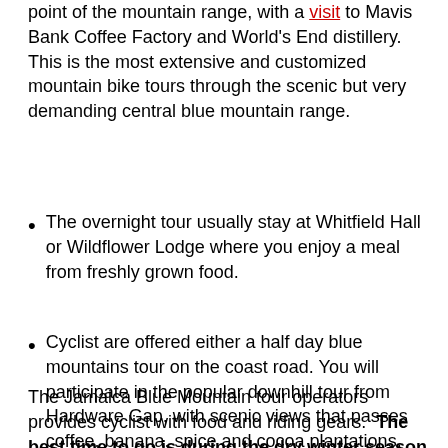point of the mountain range, with a visit to Mavis Bank Coffee Factory and World's End distillery.  This is the most extensive and customized mountain bike tours through the scenic but very demanding central blue mountain range.
The overnight tour usually stay at Whitfield Hall or Wildflower Lodge where you enjoy a meal from freshly grown food.
Cyclist are offered either a half day blue mountains tour on the coast road. You will participate in the popular downhill tour from Hardware Gap, with scenic views that passes coffee, banana, spice and cocoa plantations, pine and rainforest as well as waterfalls, streams and pools.
The Jamaica Blue Mountain tour operators provides cyclist with food and riding gears.  The best time to go is during the dry winter season which is December through to